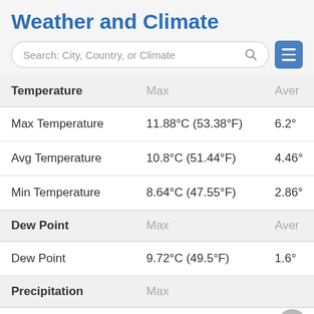Weather and Climate
[Figure (screenshot): Search bar with text 'Search: City, Country, or Climate' and a hamburger menu button]
| Temperature | Max | Aver |
| --- | --- | --- |
| Max Temperature | 11.88°C (53.38°F) | 6.2° |
| Avg Temperature | 10.8°C (51.44°F) | 4.46° |
| Min Temperature | 8.64°C (47.55°F) | 2.86° |
| Dew Point (header) | Max | Aver |
| Dew Point | 9.72°C (49.5°F) | 1.6° |
| Precipitation (header) | Max |  |
| Precipitation | 14.36mm | 0.57in | 3.53 |